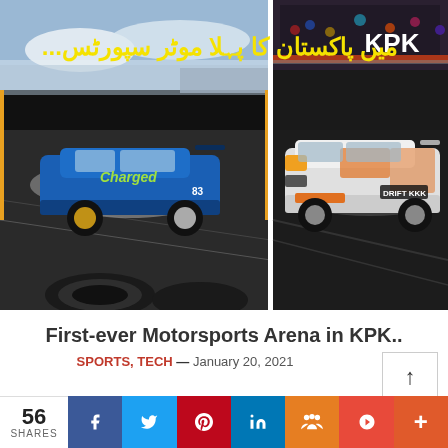[Figure (photo): A composite image showing two drift racing cars on a track. Left: a blue Nissan Skyline drifting with smoke. Right: a white/orange Drift car. Text in Urdu and English overlaid at the top: 'KPK mein Pakistan ka pehla Motorsports...' in yellow and white.]
First-ever Motorsports Arena in KPK..
SPORTS, TECH — January 20, 2021